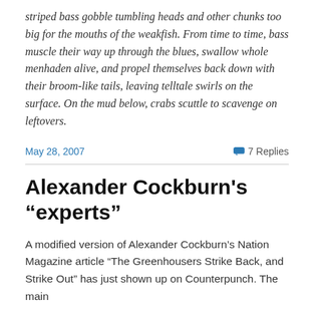striped bass gobble tumbling heads and other chunks too big for the mouths of the weakfish. From time to time, bass muscle their way up through the blues, swallow whole menhaden alive, and propel themselves back down with their broom-like tails, leaving telltale swirls on the surface. On the mud below, crabs scuttle to scavenge on leftovers.
May 28, 2007   7 Replies
Alexander Cockburn's “experts”
A modified version of Alexander Cockburn’s Nation Magazine article “The Greenhousers Strike Back, and Strike Out” has just shown up on Counterpunch. The main